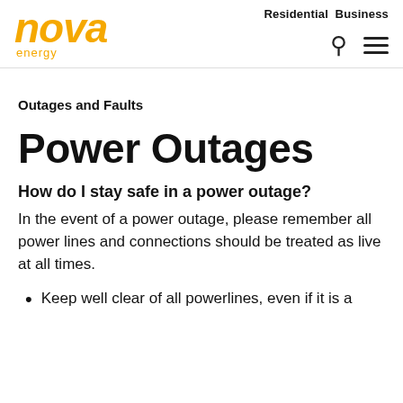nova energy | Residential Business
Outages and Faults
Power Outages
How do I stay safe in a power outage?
In the event of a power outage, please remember all power lines and connections should be treated as live at all times.
Keep well clear of all powerlines, even if it is a